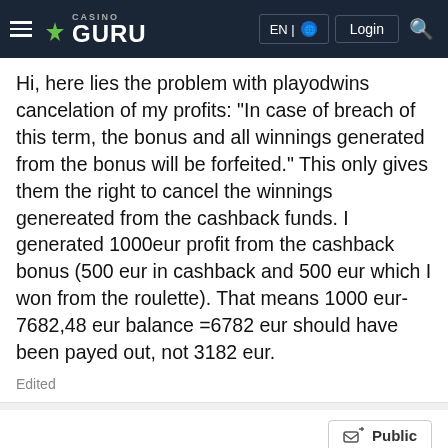Casino Guru | EN | Login
Hi, here lies the problem with playodwins cancelation of my profits: "In case of breach of this term, the bonus and all winnings generated from the bonus will be forfeited." This only gives them the right to cancel the winnings genereated from the cashback funds. I generated 1000eur profit from the cashback bonus (500 eur in cashback and 500 eur which I won from the roulette). That means 1000 eur-7682,48 eur balance =6782 eur should have been payed out, not 3182 eur.
Edited
Public
Petronela
Complaints Team Lead
• 9 MONTHS AGO
Thank you very much, vegardwest, for providing all